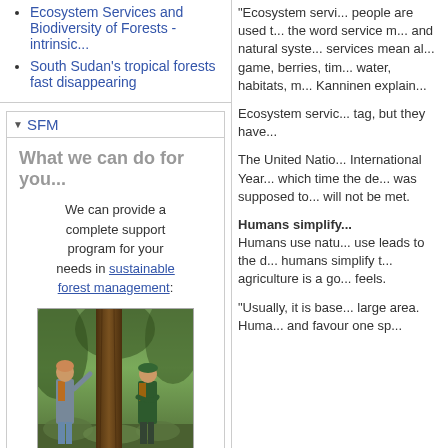Ecosystem Services and Biodiversity of Forests - intrinsic...
South Sudan's tropical forests fast disappearing
SFM
What we can do for you...
We can provide a complete support program for your needs in sustainable forest management:
[Figure (photo): Two people standing in a managed forest next to a large tree trunk, surrounded by green undergrowth and trees.]
"Ecosystem services... people are used to... the word service means... and natural systems... services mean all... game, berries, timber, water, habitats, m... Kanninen explain...
Ecosystem services... tag, but they have...
The United Nations... International Year... which time the de... was supposed to... will not be met.
Humans simplify... Humans use natu... use leads to the d... humans simplify t... agriculture is a go... feels.
"Usually, it is base... large area. Huma... and favour one sp...